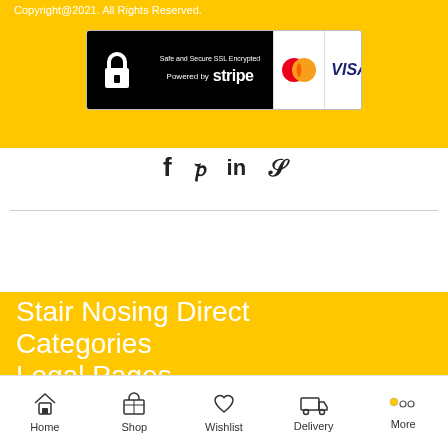Copyright@2021. All Rights Reserved.
[Figure (infographic): Safe and Secure SSL Encrypted badge with padlock, Powered by Stripe, MasterCard and VISA logos]
[Figure (infographic): Social media icons: Facebook (f), Pinterest (p), LinkedIn (in), Skype (S)]
Stair Nosing Direct
Categories
Legal Pages
Contact Us
Home | Shop | Wishlist | Delivery | More